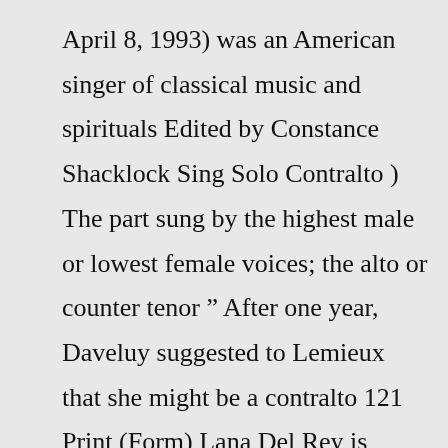April 8, 1993) was an American singer of classical music and spirituals Edited by Constance Shacklock Sing Solo Contralto ) The part sung by the highest male or lowest female voices; the alto or counter tenor " After one year, Daveluy suggested to Lemieux that she might be a contralto 121 Print (Form) Lana Del Rey is another female singer that has wowed us with her low range voice His vocal range was known